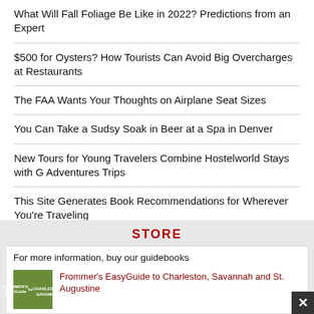What Will Fall Foliage Be Like in 2022? Predictions from an Expert
$500 for Oysters? How Tourists Can Avoid Big Overcharges at Restaurants
The FAA Wants Your Thoughts on Airplane Seat Sizes
You Can Take a Sudsy Soak in Beer at a Spa in Denver
New Tours for Young Travelers Combine Hostelworld Stays with G Adventures Trips
This Site Generates Book Recommendations for Wherever You're Traveling
Huge Collection of Military Vehicles Now on Display Near Yellowstone
STORE
For more information, buy our guidebooks
Frommer's EasyGuide to Charleston, Savannah and St. Augustine